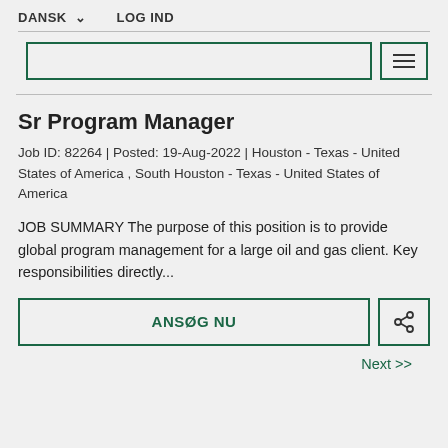DANSK ∨   LOG IND
Sr Program Manager
Job ID: 82264 | Posted: 19-Aug-2022 | Houston - Texas - United States of America , South Houston - Texas - United States of America
JOB SUMMARY The purpose of this position is to provide global program management for a large oil and gas client. Key responsibilities directly...
ANSØG NU
Next >>